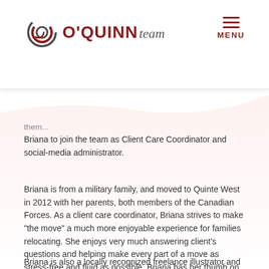O'QUINN team | MENU
them...
Briana to join the team as Client Care Coordinator and social-media administrator.
Briana is from a military family, and moved to Quinte West in 2012 with her parents, both members of the Canadian Forces. As a client care coordinator, Briana strives to make “the move” a much more enjoyable experience for families relocating. She enjoys very much answering client’s questions and helping make every part of a move as stress-free and fluid as possible. Briana has her thumb on the pulse of all things fun happening in the Quinte area. This is always appreciated by our clients, especially those new to this area.
Briana is also a locally recognized freelance illustrator and painter. Regularly exhibiting artwork in the Quinte area. She is becoming a sought-after artist for portraiture and commission work.